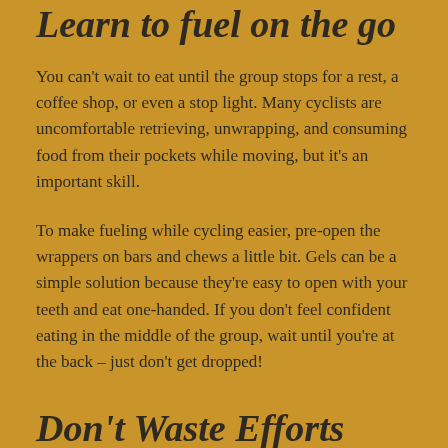Learn to fuel on the go
You can't wait to eat until the group stops for a rest, a coffee shop, or even a stop light. Many cyclists are uncomfortable retrieving, unwrapping, and consuming food from their pockets while moving, but it's an important skill.
To make fueling while cycling easier, pre-open the wrappers on bars and chews a little bit. Gels can be a simple solution because they're easy to open with your teeth and eat one-handed. If you don't feel confident eating in the middle of the group, wait until you're at the back – just don't get dropped!
Don't Waste Efforts